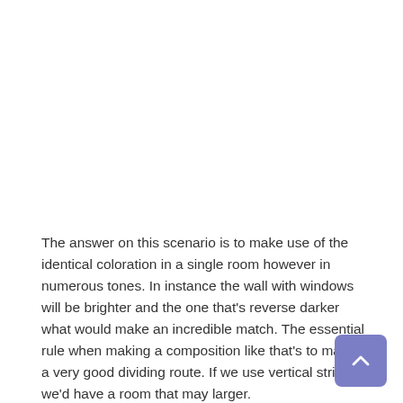The answer on this scenario is to make use of the identical coloration in a single room however in numerous tones. In instance the wall with windows will be brighter and the one that's reverse darker what would make an incredible match. The essential rule when making a composition like that's to make a very good dividing route. If we use vertical stripes we'd have a room that may larger.